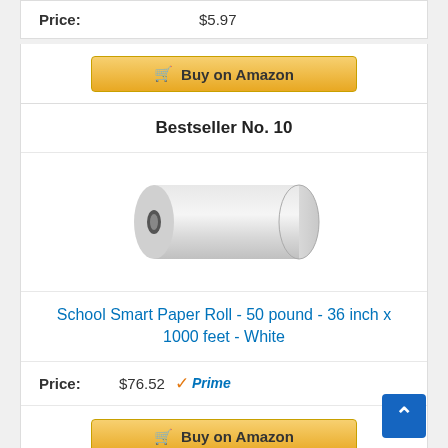Price: $5.97
[Figure (other): Buy on Amazon button]
Bestseller No. 10
[Figure (photo): School Smart Paper Roll - white paper roll product image]
School Smart Paper Roll - 50 pound - 36 inch x 1000 feet - White
Price: $76.52 Prime
[Figure (other): Buy on Amazon button]